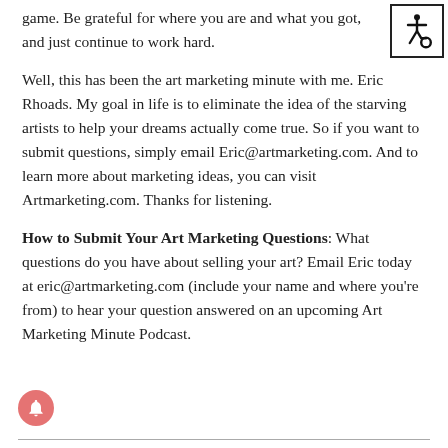game. Be grateful for where you are and what you got, and just continue to work hard.
[Figure (other): Accessibility icon — wheelchair symbol inside a bordered square]
Well, this has been the art marketing minute with me. Eric Rhoads. My goal in life is to eliminate the idea of the starving artists to help your dreams actually come true. So if you want to submit questions, simply email Eric@artmarketing.com. And to learn more about marketing ideas, you can visit Artmarketing.com. Thanks for listening.
How to Submit Your Art Marketing Questions: What questions do you have about selling your art? Email Eric today at eric@artmarketing.com (include your name and where you're from) to hear your question answered on an upcoming Art Marketing Minute Podcast.
[Figure (other): Red circular notification bell button]